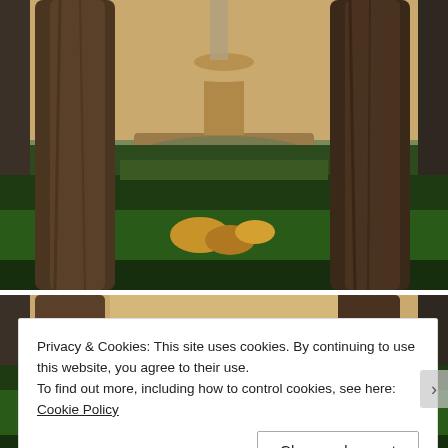[Figure (photo): Garden courtyard with two large tree trunks in foreground, a stone fountain in the center background, manicured hedges, and green leafy plants with some yellow flowers. Sandy stone building walls visible in background.]
[Figure (photo): Partial view of the same garden courtyard, showing tree trunks, hedges, and sandy stone building walls.]
Privacy & Cookies: This site uses cookies. By continuing to use this website, you agree to their use.
To find out more, including how to control cookies, see here: Cookie Policy
Close and accept